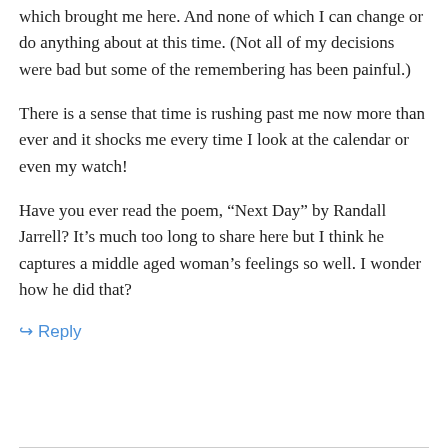which brought me here. And none of which I can change or do anything about at this time. (Not all of my decisions were bad but some of the remembering has been painful.)
There is a sense that time is rushing past me now more than ever and it shocks me every time I look at the calendar or even my watch!
Have you ever read the poem, “Next Day” by Randall Jarrell? It’s much too long to share here but I think he captures a middle aged woman’s feelings so well. I wonder how he did that?
↪ Reply